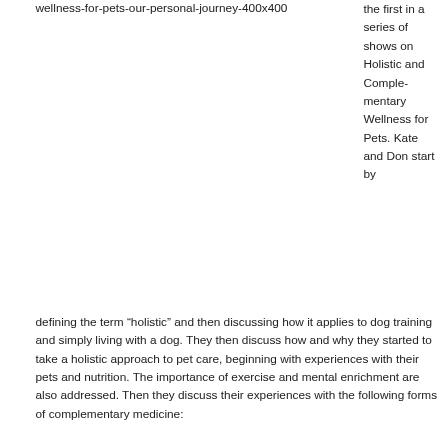wellness-for-pets-our-personal-journey-400x400
the first in a series of shows on Holistic and Complementary Wellness for Pets. Kate and Don start by defining the term “holistic” and then discussing how it applies to dog training and simply living with a dog. They then discuss how and why they started to take a holistic approach to pet care, beginning with experiences with their pets and nutrition. The importance of exercise and mental enrichment are also addressed. Then they discuss their experiences with the following forms of complementary medicine: